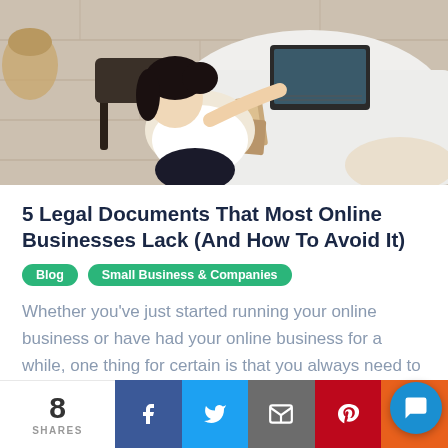[Figure (photo): Overhead view of a woman with dark hair sitting at a desk, reading books and working on a laptop on a white table, viewed from above]
5 Legal Documents That Most Online Businesses Lack (And How To Avoid It)
Blog
Small Business & Companies
Whether you've just started running your online business or have had your online business for a while, one thing for certain is that you always need to have the most relevant legal documents in place.
8 SHARES | Facebook | Twitter | Email | Pinterest | Chat